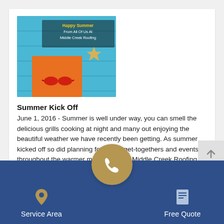[Figure (photo): Summer-themed image with beach items and text overlay: 'Happy Summer From All Of Us At Middle Creek Roofing']
Summer Kick Off
June 1, 2016 - Summer is well under way, you can smell the delicious grills cooking at night and many out enjoying the beautiful weather we have recently been getting. As summer kicked off so did planning for family get-togethers and events throughout the warmer months. We at Middle Creek Roofing hope that you are excited about the recent project we completed for you as much as we are. We truly appreciate each and everyone of our customers.
[Read this press release]
Total Press Releases: 11
Service Area | Phone | Free Quote